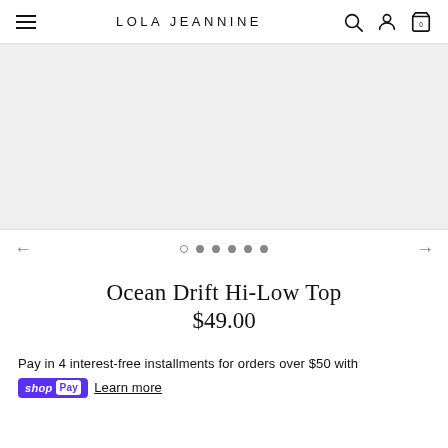LOLA JEANNINE
[Figure (photo): Product image area showing light gray placeholder rectangle for the Ocean Drift Hi-Low Top with carousel navigation arrows and dot indicators]
Ocean Drift Hi-Low Top
$49.00
Pay in 4 interest-free installments for orders over $50 with shopPay Learn more